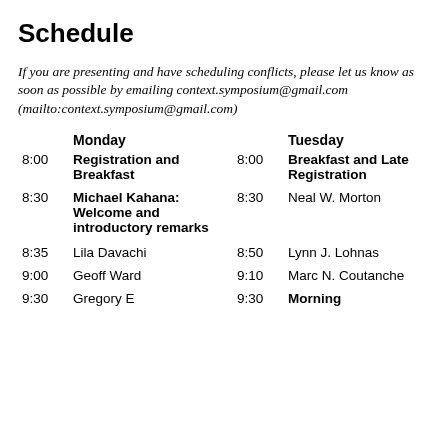Schedule
If you are presenting and have scheduling conflicts, please let us know as soon as possible by emailing context.symposium@gmail.com (mailto:context.symposium@gmail.com)
|  | Monday |  | Tuesday |
| --- | --- | --- | --- |
| 8:00 | Registration and Breakfast | 8:00 | Breakfast and Late Registration |
| 8:30 | Michael Kahana: Welcome and introductory remarks | 8:30 | Neal W. Morton |
| 8:35 | Lila Davachi | 8:50 | Lynn J. Lohnas |
| 9:00 | Geoff Ward | 9:10 | Marc N. Coutanche |
| 9:30 | Gregory E | 9:30 | Morning |